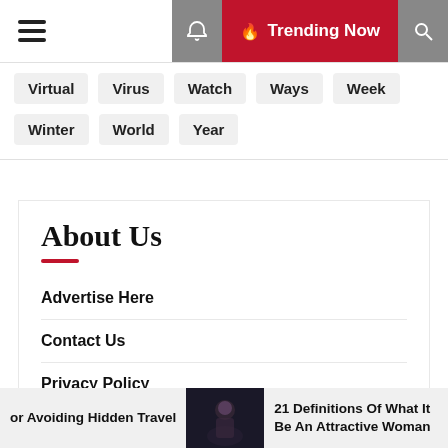Trending Now
Virtual
Virus
Watch
Ways
Week
Winter
World
Year
About Us
Advertise Here
Contact Us
Privacy Policy
Sitemap
or Avoiding Hidden Travel
21 Definitions Of What It Be An Attractive Woman